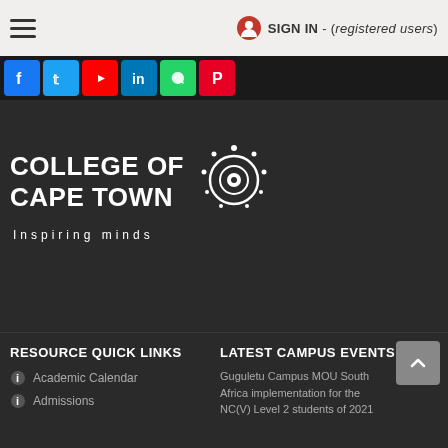SIGN IN - (registered users)
[Figure (logo): Social media icons: Facebook, Twitter, YouTube, LinkedIn, WhatsApp, Pinterest on dark bar]
[Figure (logo): College of Cape Town logo with sun/atom emblem and tagline 'Inspiring minds' on dark background]
RESOURCE QUICK LINKS
LATEST CAMPUS EVENTS
Academic Calendar
Admissions
Guguletu Campus MOU South Africa implementation for the NC(V) Level 2 students of 2021